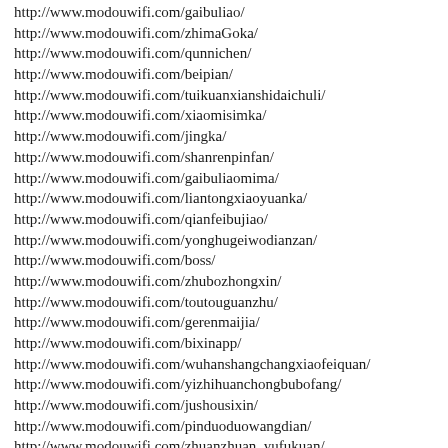http://www.modouwifi.com/gaibuliao/
http://www.modouwifi.com/zhimaGoka/
http://www.modouwifi.com/qunnichen/
http://www.modouwifi.com/beipian/
http://www.modouwifi.com/tuikuanxianshidaichuli/
http://www.modouwifi.com/xiaomisimka/
http://www.modouwifi.com/jingka/
http://www.modouwifi.com/shanrenpinfan/
http://www.modouwifi.com/gaibuliaomima/
http://www.modouwifi.com/liantongxiaoyuanka/
http://www.modouwifi.com/qianfeibujiao/
http://www.modouwifi.com/yonghugeiwodianzan/
http://www.modouwifi.com/boss/
http://www.modouwifi.com/zhubozhongxin/
http://www.modouwifi.com/toutouguanzhu/
http://www.modouwifi.com/gerenmaijia/
http://www.modouwifi.com/bixinapp/
http://www.modouwifi.com/wuhanshangchangxiaofeiquan/
http://www.modouwifi.com/yizhihuanchongbubofang/
http://www.modouwifi.com/jushousixin/
http://www.modouwifi.com/pinduoduowangdian/
http://www.modouwifi.com/zhuanzhuan_yufukuan/
http://www.modouwifi.com/zhanghaokeyishenqingjige/
http://www.modouwifi.com/tianjiaerhaokoudai/
http://www.modouwifi.com/shunfengapp/
http://www.modouwifi.com/fanofeit...